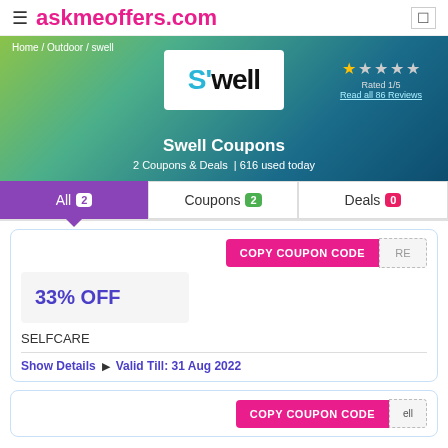≡ askmeoffers.com
Home / Outdoor / swell
[Figure (logo): S'well brand logo in black and white with blue apostrophe]
★ ★ ★ ★ ★ Rated 1/5 Read all 86 Reviews
Swell Coupons
2 Coupons & Deals  | 616 used today
All 2  Coupons 2  Deals 0
COPY COUPON CODE
33% OFF
SELFCARE
Show Details  ▷  Valid Till: 31 Aug 2022
COPY COUPON CODE